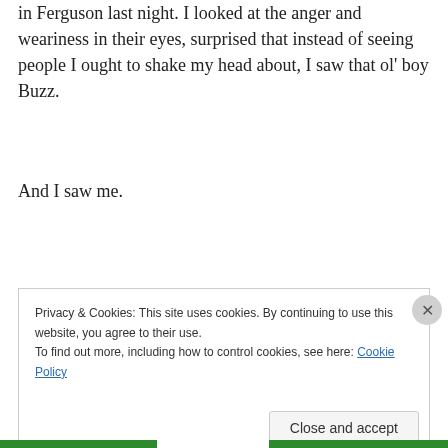in Ferguson last night. I looked at the anger and weariness in their eyes, surprised that instead of seeing people I ought to shake my head about, I saw that ol' boy Buzz.
And I saw me.
November 25, 2014
Privacy & Cookies: This site uses cookies. By continuing to use this website, you agree to their use. To find out more, including how to control cookies, see here: Cookie Policy